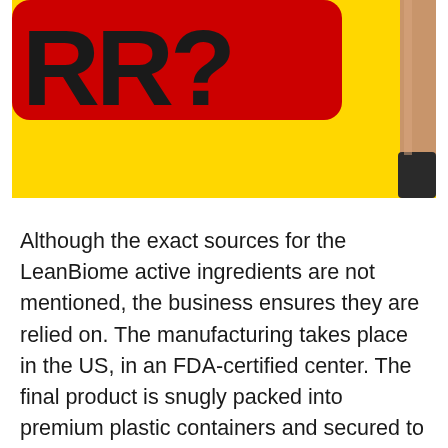[Figure (photo): Partial view of a product package with yellow and red background. The red section shows partial text letters 'RR?' in black. On the right edge, a cylindrical container (bottle/capsule) is partially visible.]
Although the exact sources for the LeanBiome active ingredients are not mentioned, the business ensures they are relied on. The manufacturing takes place in the US, in an FDA-certified center. The final product is snugly packed into premium plastic containers and secured to preserve the high quality. The firm likewise specifies that it checks every batch with a third-party screening center to stop the threat of contamination.